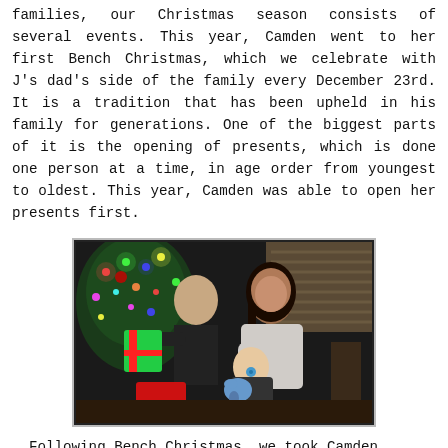families, our Christmas season consists of several events. This year, Camden went to her first Bench Christmas, which we celebrate with J's dad's side of the family every December 23rd. It is a tradition that has been upheld in his family for generations. One of the biggest parts of it is the opening of presents, which is done one person at a time, in age order from youngest to oldest. This year, Camden was able to open her presents first.
[Figure (photo): A family photo showing a man and a woman holding a baby near a Christmas tree with colorful lights. The baby is wearing a checkered outfit and has a pacifier. There are wrapped presents visible.]
Following Bench Christmas, we took Camden...